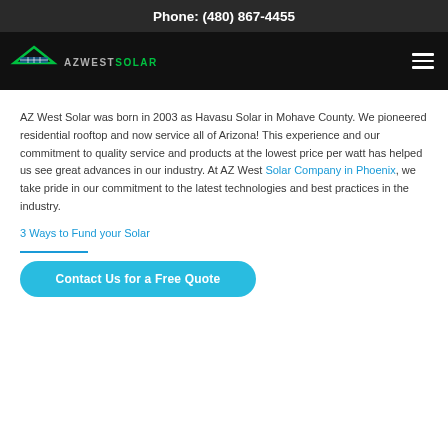Phone: (480) 867-4455
[Figure (logo): AZ West Solar logo with roof icon and green/white text on black nav bar]
AZ West Solar was born in 2003 as Havasu Solar in Mohave County. We pioneered residential rooftop and now service all of Arizona! This experience and our commitment to quality service and products at the lowest price per watt has helped us see great advances in our industry. At AZ West Solar Company in Phoenix, we take pride in our commitment to the latest technologies and best practices in the industry.
3 Ways to Fund your Solar
Contact Us for a Free Quote